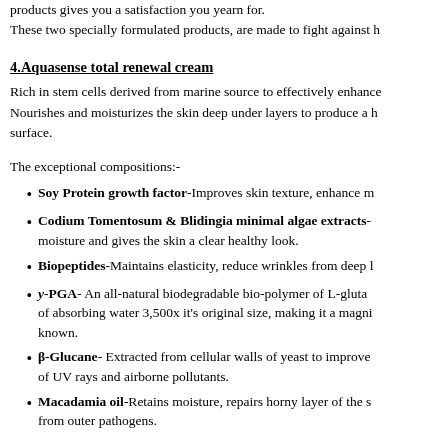products gives you a satisfaction you yearn for.
These two specially formulated products, are made to fight against h
4.Aquasense total renewal cream
Rich in stem cells derived from marine source to effectively enhance the skin. Nourishes and moisturizes the skin deep under layers to produce a healthy surface.
The exceptional compositions:-
Soy Protein growth factor-Improves skin texture, enhance m
Codium Tomentosum & Blidingia minimal algae extracts- moisture and gives the skin a clear healthy look.
Biopeptides-Maintains elasticity, reduce wrinkles from deep l
y-PGA- An all-natural biodegradable bio-polymer of L-glutamic acid. Capable of absorbing water 3,500x it's original size, making it a magnificent moisturizer known.
β-Glucane- Extracted from cellular walls of yeast to improve the skin's defense of UV rays and airborne pollutants.
Macadamia oil-Retains moisture, repairs horny layer of the skin, protects from outer pathogens.